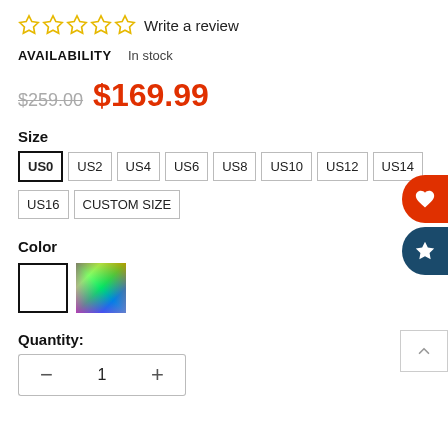☆☆☆☆☆ Write a review
AVAILABILITY   In stock
$259.00  $169.99
Size
US0 US2 US4 US6 US8 US10 US12 US14 US16 CUSTOM SIZE
Color
[Figure (other): Two color swatches: white/blank and multicolor gradient square]
Quantity:
− 1 +